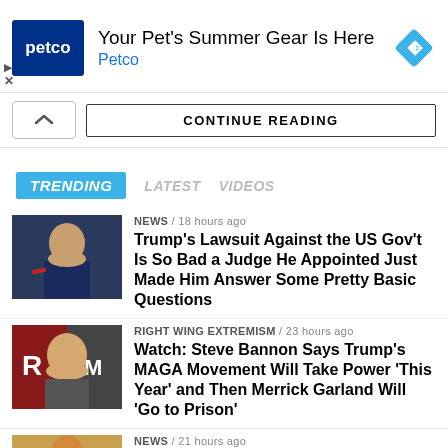[Figure (other): Petco advertisement banner with Petco logo, headline 'Your Pet's Summer Gear Is Here', brand name 'Petco', and a blue diamond arrow icon]
CONTINUE READING
TRENDING   LATEST   VIDEOS
[Figure (photo): Thumbnail photo of Donald Trump gesturing at a table]
NEWS / 18 hours ago
Trump's Lawsuit Against the US Gov't Is So Bad a Judge He Appointed Just Made Him Answer Some Pretty Basic Questions
[Figure (photo): Thumbnail photo of Steve Bannon at a microphone with red and blue background]
RIGHT WING EXTREMISM / 23 hours ago
Watch: Steve Bannon Says Trump's MAGA Movement Will Take Power 'This Year' and Then Merrick Garland Will 'Go to Prison'
[Figure (photo): Thumbnail photo of a person with golden/orange background]
NEWS / 21 hours ago
Rick Scott Slammed for Criticizing Biden...